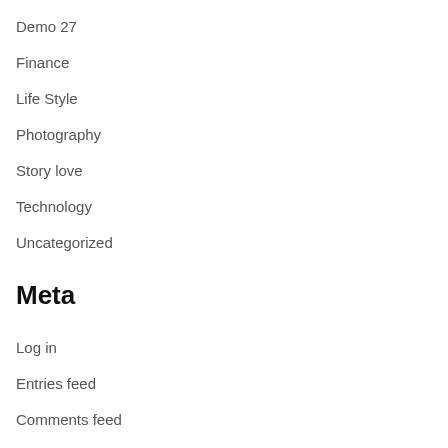Demo 27
Finance
Life Style
Photography
Story love
Technology
Uncategorized
Meta
Log in
Entries feed
Comments feed